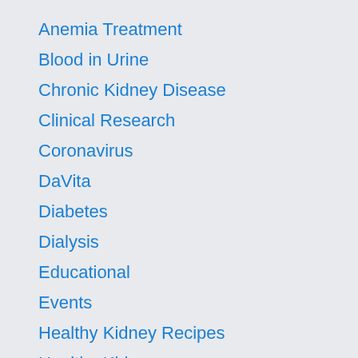Anemia Treatment
Blood in Urine
Chronic Kidney Disease
Clinical Research
Coronavirus
DaVita
Diabetes
Dialysis
Educational
Events
Healthy Kidney Recipes
Healthy Kidneys
High Blood Pressure